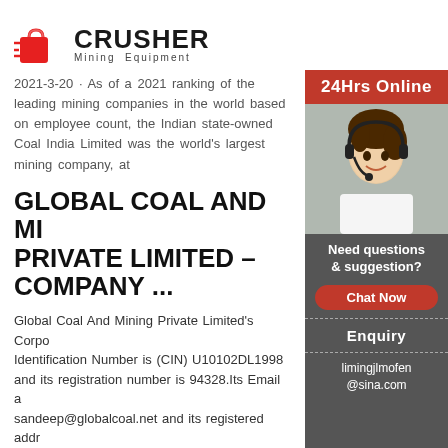[Figure (logo): Crusher Mining Equipment logo with red shopping bag icon and bold CRUSHER text]
2021-3-20 · As of a 2021 ranking of the leading mining companies in the world based on employee count, the Indian state-owned Coal India Limited was the world's largest mining company, at
GLOBAL COAL AND MI... PRIVATE LIMITED – COMPANY ...
Global Coal And Mining Private Limited's Corporate Identification Number is (CIN) U10102DL1998... and its registration number is 94328.Its Email a... sandeep@globalcoal.net and its registered addr... First Floor, Sector-8 Market, R. K. Puram, New ... West Delhi DL 110022 IN , - . .
AUSTRALIA: EMPLOYMENT... IN COAL MINING INDU...
[Figure (photo): Customer service representative woman with headset smiling, with 24Hrs Online label and chat sidebar]
24Hrs Online
Need questions & suggestion?
Chat Now
Enquiry
limingjlmofen@sina.com